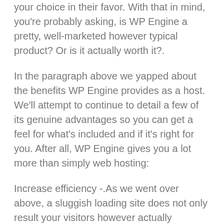your choice in their favor. With that in mind, you're probably asking, is WP Engine a pretty, well-marketed however typical product? Or is it actually worth it?.
In the paragraph above we yapped about the benefits WP Engine provides as a host. We'll attempt to continue to detail a few of its genuine advantages so you can get a feel for what's included and if it's right for you. After all, WP Engine gives you a lot more than simply web hosting:
Increase efficiency -.As we went over above, a sluggish loading site does not only result your visitors however actually significantly effects your websites overall performance. Have you ever clicked on a search engine result just to quickly hit the back button since the requested page wasn't loading? Well with a sluggish loading website, not just will numerous visitors exit out of impatience, however Google will decrease your ranking while preserving the top search engine result